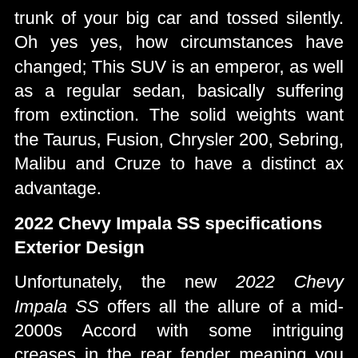trunk of your big car and tossed silently. Oh yes yes, how circumstances have changed; This SUV is an emperor, as well as a regular sedan, basically suffering from extinction. The solid weights want the Taurus, Fusion, Chrysler 200, Sebring, Malibu and Cruze to have a distinct ax advantage.
2022 Chevy Impala SS specifications Exterior Design
Unfortunately, the new 2022 Chevy Impala SS offers all the allure of a mid-2000s Accord with some intriguing creases in the rear fender meaning you can't blame punters for picking a crossover on that versatility. It is a faint shadow of the previous person. To address this, my review will pay tribute to the 1964 Impala SS 4 hardtop with 4 front doors with frameless house 7 windows and nice, perfectly clean body lines, all the while adding credit for the more skewed 1967 contrast. Imminent. Chevrolet's road-based design accent